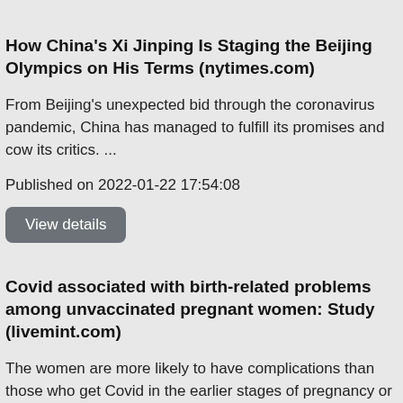How China's Xi Jinping Is Staging the Beijing Olympics on His Terms (nytimes.com)
From Beijing's unexpected bid through the coronavirus pandemic, China has managed to fulfill its promises and cow its critics. ...
Published on 2022-01-22 17:54:08
View details
Covid associated with birth-related problems among unvaccinated pregnant women: Study (livemint.com)
The women are more likely to have complications than those who get Covid in the earlier stages of pregnancy or who haven't had coronavirus at all ...